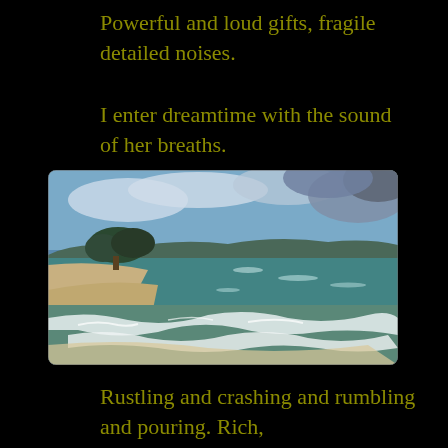Powerful and loud gifts, fragile detailed noises.
I enter dreamtime with the sound of her breaths.
[Figure (photo): A coastal beach scene with waves crashing onto shore, a sandy beach on the left, trees and hills in the background, and a partly cloudy blue sky above a calm sea.]
Rustling and crashing and rumbling and pouring. Rich,